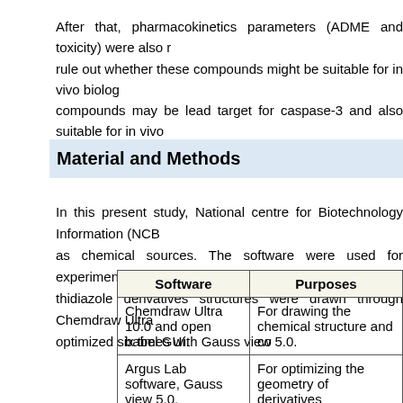After that, pharmacokinetics parameters (ADME and toxicity) were also r rule out whether these compounds might be suitable for in vivo biolog compounds may be lead target for caspase-3 and also suitable for in vivo
Material and Methods
In this present study, National centre for Biotechnology Information (NCB as chemical sources. The software were used for experiment, tabulated thidiazole derivatives structures were drawn through Chemdraw Ultra optimized six times with Gauss view 5.0.
| Software | Purposes |
| --- | --- |
| Chemdraw Ultra 10.0 and open babel GUI. | For drawing the chemical structure and co |
| Argus Lab software, Gauss view 5.0. | For optimizing the geometry of derivatives |
| Autodock 4.0,Discovery studio and | For docking studies. |